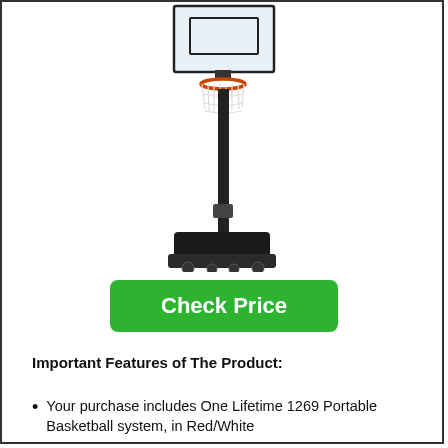[Figure (photo): A portable basketball hoop system with a clear backboard, red and black rim with white net, tall black metal pole, and a large black base with wheels.]
Check Price
Important Features of The Product:
Your purchase includes One Lifetime 1269 Portable Basketball system, in Red/White